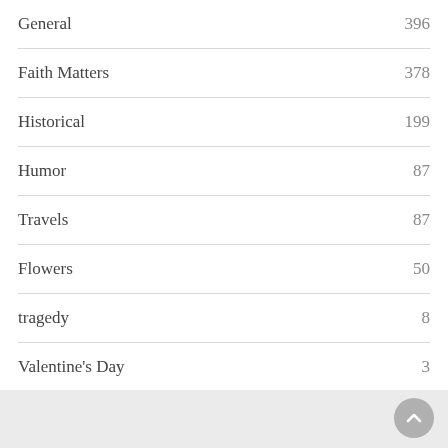General    396
Faith Matters    378
Historical    199
Humor    87
Travels    87
Flowers    50
tragedy    8
Valentine's Day    3
Featured    1